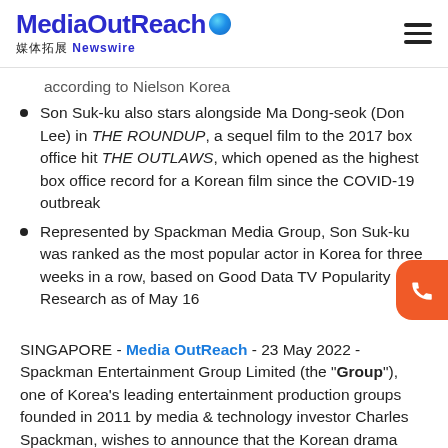MediaOutReach 媒体拓展 Newswire
according to Nielson Korea
Son Suk-ku also stars alongside Ma Dong-seok (Don Lee) in THE ROUNDUP, a sequel film to the 2017 box office hit THE OUTLAWS, which opened as the highest box office record for a Korean film since the COVID-19 outbreak
Represented by Spackman Media Group, Son Suk-ku was ranked as the most popular actor in Korea for three weeks in a row, based on Good Data TV Popularity Research as of May 16
SINGAPORE - Media OutReach - 23 May 2022 - Spackman Entertainment Group Limited (the "Group"), one of Korea's leading entertainment production groups founded in 2011 by media & technology investor Charles Spackman, wishes to announce that the Korean drama